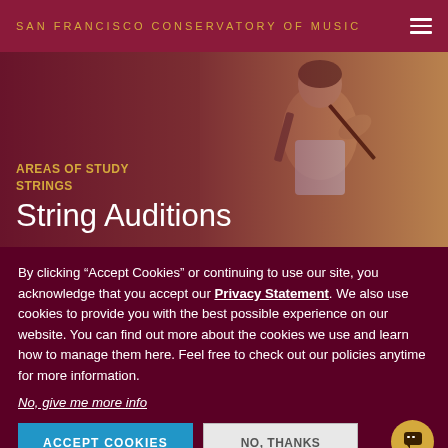SAN FRANCISCO CONSERVATORY OF MUSIC
[Figure (photo): Person playing violin, hero image for String Auditions page]
AREAS OF STUDY
STRINGS
String Auditions
By clicking “Accept Cookies” or continuing to use our site, you acknowledge that you accept our Privacy Statement. We also use cookies to provide you with the best possible experience on our website. You can find out more about the cookies we use and learn how to manage them here. Feel free to check out our policies anytime for more information.
No, give me more info